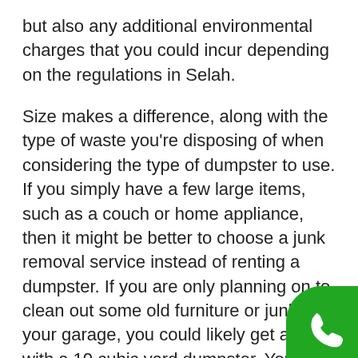but also any additional environmental charges that you could incur depending on the regulations in Selah.
Size makes a difference, along with the type of waste you're disposing of when considering the type of dumpster to use. If you simply have a few large items, such as a couch or home appliance, then it might be better to choose a junk removal service instead of renting a dumpster. If you are only planning on to clean out some old furniture or junk in your garage, you could likely get away with a 10 cubic yard dumpster. You'll want to check with your rental company in Selah to see if there are items that they prohibit before you decide to go with a dumpster option. Objects such as mattresses, oil or paint cans, grease or food waste and refrigerators will not be allowed.
[Figure (other): Green phone/call button in bottom-right corner (rounded top-left corner, white telephone handset icon)]